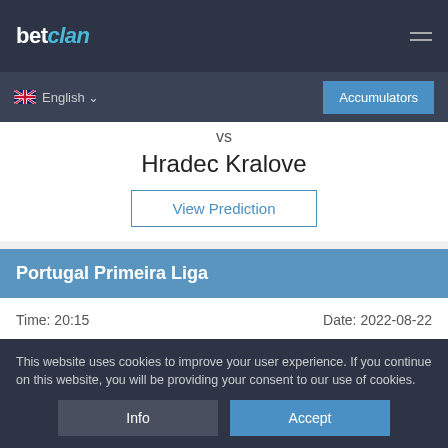betclan — Accumulators
English
vs
Hradec Kralove
View Prediction
Portugal Primeira Liga
Time: 20:15    Date: 2022-08-22
Gil Vicente
This website uses cookies to improve your user experience. If you continue on this website, you will be providing your consent to our use of cookies.
Info
Accept